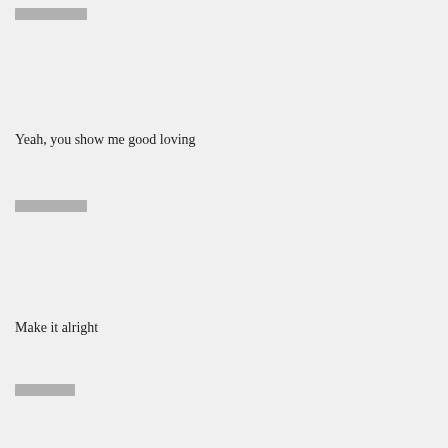████████
Yeah, you show me good loving
████████
Make it alright
███████